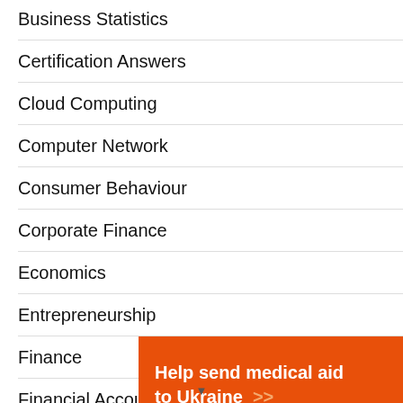Business Statistics
Certification Answers
Cloud Computing
Computer Network
Consumer Behaviour
Corporate Finance
Economics
Entrepreneurship
Finance
Financial Accounting
Financial Management
[Figure (infographic): Orange advertisement banner for Direct Relief: 'Help send medical aid to Ukraine >>' with Direct Relief logo on right side.]
▼